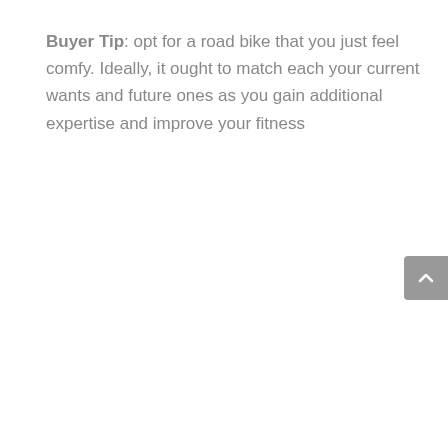Buyer Tip: opt for a road bike that you just feel comfy. Ideally, it ought to match each your current wants and future ones as you gain additional expertise and improve your fitness